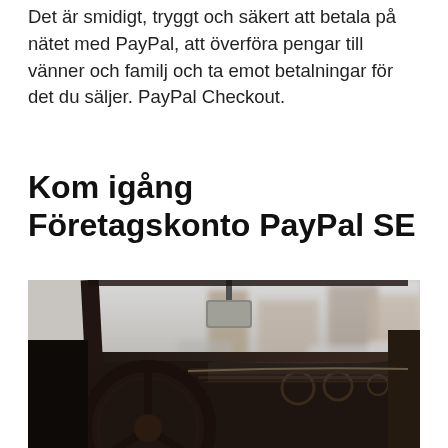Det är smidigt, tryggt och säkert att betala på nätet med PayPal, att överföra pengar till vänner och familj och ta emot betalningar för det du säljer. PayPal Checkout.
Kom igång Företagskonto PayPal SE
[Figure (photo): Interior view of a vintage/classic car showing steering wheel, dashboard, and rear-view mirror with a blurred street scene visible through the windshield]